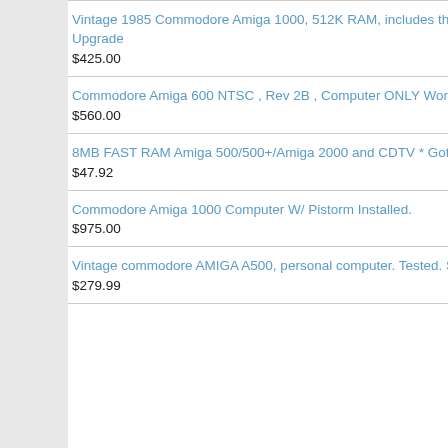Vintage 1985 Commodore Amiga 1000, 512K RAM, includes the A10... Upgrade
$425.00
Commodore Amiga 600 NTSC , Rev 2B , Computer ONLY Works Gr...
$560.00
8MB FAST RAM Amiga 500/500+/Amiga 2000 and CDTV * GottaGo...
$47.92
Commodore Amiga 1000 Computer W/ Pistorm Installed.
$975.00
Vintage commodore AMIGA A500, personal computer. Tested. Sold A...
$279.99